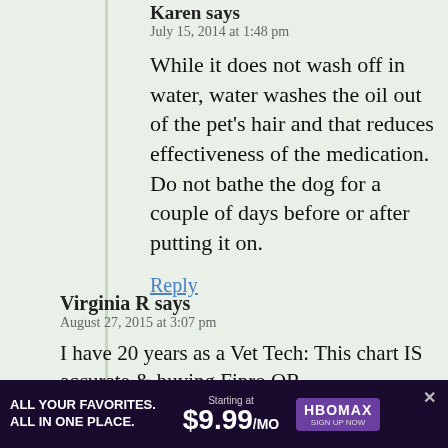Karen says
July 15, 2014 at 1:48 pm
While it does not wash off in water, water washes the oil out of the pet’s hair and that reduces effectiveness of the medication. Do not bathe the dog for a couple of days before or after putting it on.
Reply
Virginia R says
August 27, 2015 at 3:07 pm
I have 20 years as a Vet Tech: This chart IS accurate & buying Fipro OR
Advantage/Advantix in the large 89lb+ size
[Figure (screenshot): Advertisement banner for HBO Max showing 'ALL YOUR FAVORITES. ALL IN ONE PLACE.' with price $9.99/MO]